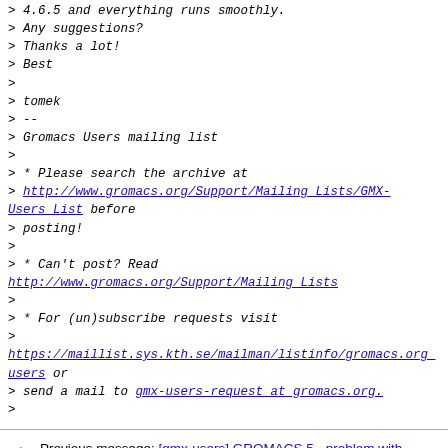> 4.6.5 and everything runs smoothly.
> Any suggestions?
> Thanks a lot!
> Best
>
> tomek
> --
> Gromacs Users mailing list
>
> * Please search the archive at
> http://www.gromacs.org/Support/Mailing_Lists/GMX-Users_List before
> posting!
>
> * Can't post? Read
http://www.gromacs.org/Support/Mailing_Lists
>
> * For (un)subscribe requests visit
>
https://maillist.sys.kth.se/mailman/listinfo/gromacs.org_users or
> send a mail to gmx-users-request at gromacs.org.
>
Previous message: [gmx-users] GROMACS 5 - problem with LINCS with freeze groups
Next message: [gmx-users] GROMACS 5 - problem with LINCS with freeze groups